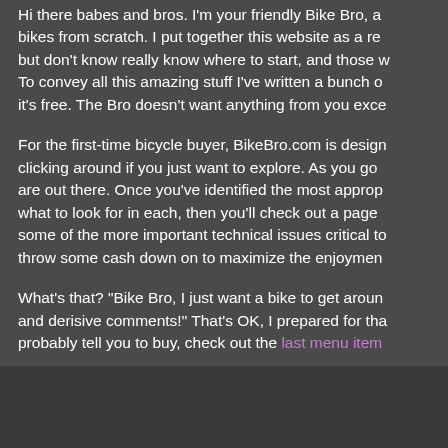Hi there babes and bros. I'm your friendly Bike Bro, a bikes from scratch. I put together this website as a re but don't know really know where to start, and those w To convey all this amazing stuff I've written a bunch o it's free. The Bro doesn't want anything from you exce
For the first-time bicycle buyer, BikeBro.com is design clicking around if you just want to explore. As you go are out there. Once you've identified the most approp what to look for in each, then you'll check out a page some of the more important technical issues critical to throw some cash down on to maximize the enjoymen
What's that? "Bike Bro, I just want a bike to get aroun and derisive comments!" That's OK, I prepared for tha probably tell you to buy, check out the last menu item
It's time to get down to business, so grab a refreshing questions, shoot the Bro an email by filling out the for